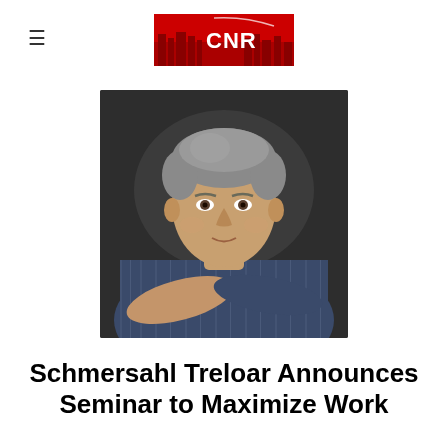CNR (logo)
[Figure (photo): Portrait of a middle-aged man with gray hair wearing a blue striped shirt, arms crossed, against a dark background]
Schmersahl Treloar Announces Seminar to Maximize Work